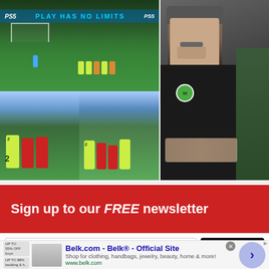[Figure (photo): Football/soccer match collage: top-left shows a free kick scene on a green pitch with 'PLAY HAS NO LIMITS' PlayStation 5 banner; bottom-left and bottom-middle show players in yellow-green and red/white kits running; right side shows a man in a black Wolfsburg jacket (coach) gesturing and talking to someone]
Sign up to our FREE newsletter
Enter your email here
SUBSCRIBE
Belk.com - Belk® - Official Site
Shop for clothing, handbags, jewelry, beauty, home & more!
www.belk.com